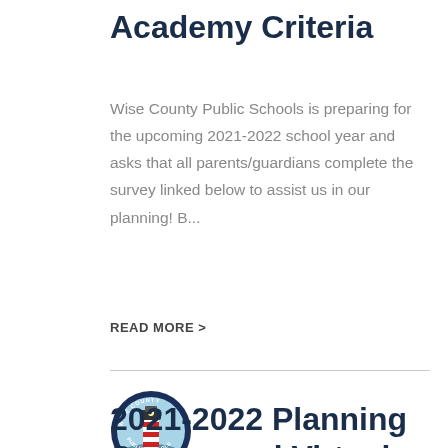Academy Criteria
Wise County Public Schools is preparing for the upcoming 2021-2022 school year and asks that all parents/guardians complete the survey linked below to assist us in our planning! B...
READ MORE >
[Figure (logo): Wise County Public Schools circular logo with lighthouse]
2021-2022 Planning Survey and Virtual Academy Criteria